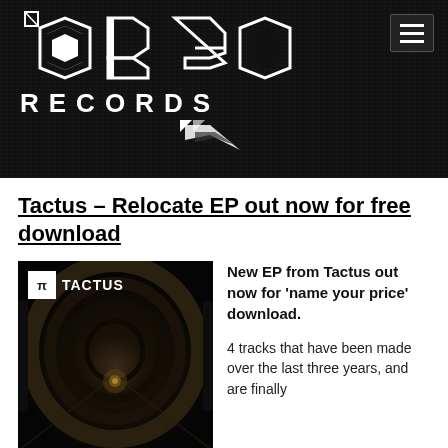[Figure (logo): abgo Records geometric logo in white on dark city background header banner with hamburger menu icon top right]
Tactus – Relocate EP out now for free download
[Figure (photo): Album art for Tactus Relocate EP showing a dark tunnel perspective with TACTUS text and TT icon logo in top left corner]
New EP from Tactus out now for 'name your price' download.
4 tracks that have been made over the last three years, and are finally